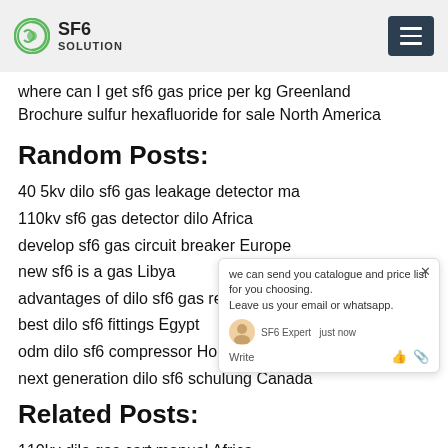SF6 SOLUTION
where can I get sf6 gas price per kg Greenland
Brochure sulfur hexafluoride for sale North America
Random Posts:
40 5kv dilo sf6 gas leakage detector ma... a
110kv sf6 gas detector dilo Africa
develop sf6 gas circuit breaker Europe
new sf6 is a gas Libya
advantages of dilo sf6 gas refilling kit Finland
best dilo sf6 fittings Egypt
odm dilo sf6 compressor Hong Kong
next generation dilo sf6 schulung Canada
Related Posts:
110kv dilo gas cart manual Africa